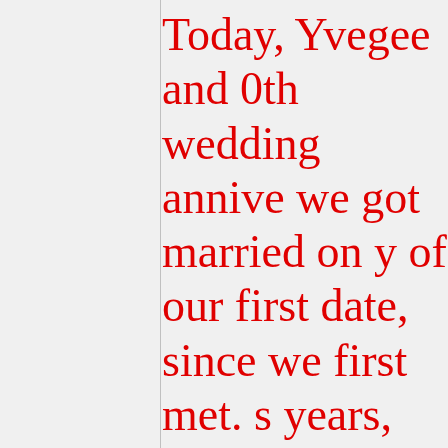Today, Yvegee and 0th wedding anniversary we got married on y of our first date, since we first met. s years, we renewed ared our love for ea wing our marriage he fact that we are he remnants of hea very nice day toget